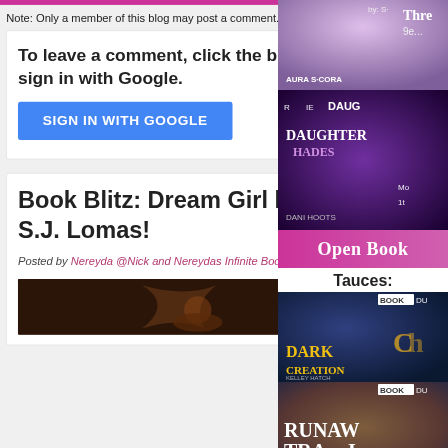Note: Only a member of this blog may post a comment.
To leave a comment, click the button below to sign in with Google.
SIGN IN WITH GOOGLE
Book Blitz: Dream Girl by S.J. Lomas!
Posted by Nereyda @Nick and Nereydas Infinite Booklist - 9:50 PM -
[Figure (photo): Book cover thumbnail - dark fantasy image]
[Figure (photo): Book cover - fantasy girl with flowers/crown]
[Figure (photo): Book cover - Daughter of Hades by Dani Hoots]
[Figure (photo): Open Book blog banner - pink/magenta]
Tauces:
[Figure (photo): Book cover - Dark Creation by Kelley Hatch]
[Figure (photo): Book cover - Runaway Trail]